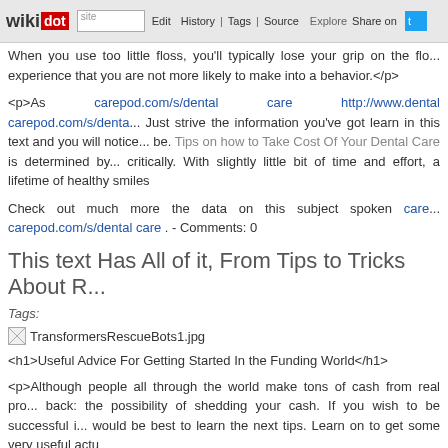wikidot | site | Edit | History | Tags | Source | Explore | Share on [Twitter]
When you use too little floss, you'll typically lose your grip on the flo... experience that you are not more likely to make into a behavior.</p>
<p>As carepod.com/s/dental care http://www.dental carepod.com/s/denta... Just strive the information you've got learn in this text and you will notice... be. Tips on how to Take Cost Of Your Dental Care is determined by... critically. With slightly little bit of time and effort, a lifetime of healthy smiles
Check out much more the data on this subject spoken care... carepod.com/s/dental care . - Comments: 0
This text Has All of it, From Tips to Tricks About R...
Tags:
[Figure (illustration): Broken image placeholder for TransformersRescueBots1.jpg]
<h1>Useful Advice For Getting Started In the Funding World</h1>
<p>Although people all through the world make tons of cash from real pro... back: the possibility of shedding your cash. If you wish to be successful i... would be best to learn the next tips. Learn on to get some very useful actu
<p>Just remember to set reasonable goals primarily based on the funds... buy ten houses in the span of a month if you solely have 100 thousand do... avoid setbacks at all prices.</p>
<p>Strive to not overextend your self. Do not get overeager. Start sma... assume that you can spend an ideal deal and make that money again.